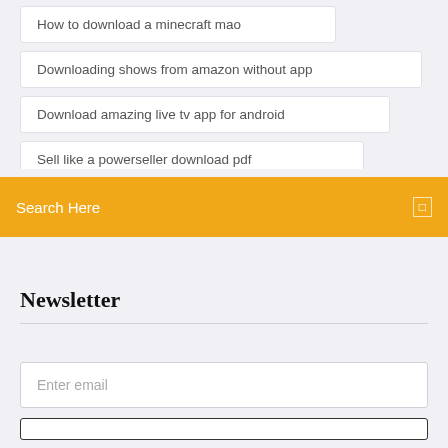How to download a minecraft mao
Downloading shows from amazon without app
Download amazing live tv app for android
Sell like a powerseller download pdf
Search Here
Newsletter
Enter email